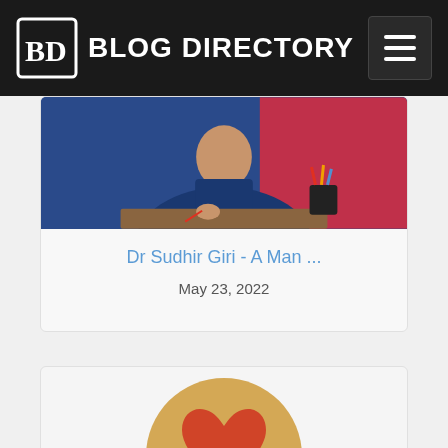BD BLOG DIRECTORY
[Figure (photo): Photo of Dr Sudhir Giri seated at a desk, wearing a blue vest, with a pink background element and a pen holder with markers visible]
Dr Sudhir Giri - A Man ...
May 23, 2022
[Figure (illustration): Golden/tan circle with a red/orange heart icon in the center]